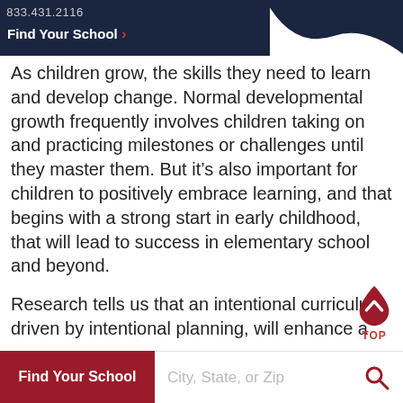833.431.2116
Find Your School >
As children grow, the skills they need to learn and develop change. Normal developmental growth frequently involves children taking on and practicing milestones or challenges until they master them. But it’s also important for children to positively embrace learning, and that begins with a strong start in early childhood, that will lead to success in elementary school and beyond.
Research tells us that an intentional curriculum, driven by intentional planning, will enhance a child’s learning potential. When the teaching philosophy, curriculum, and assessment practices are aligned across the early learning years,
Find Your School
City, State, or Zip